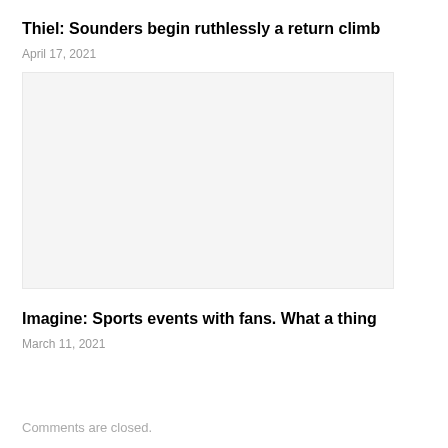Thiel: Sounders begin ruthlessly a return climb
April 17, 2021
[Figure (photo): Image placeholder for article about Sounders return climb]
Imagine: Sports events with fans. What a thing
March 11, 2021
Comments are closed.